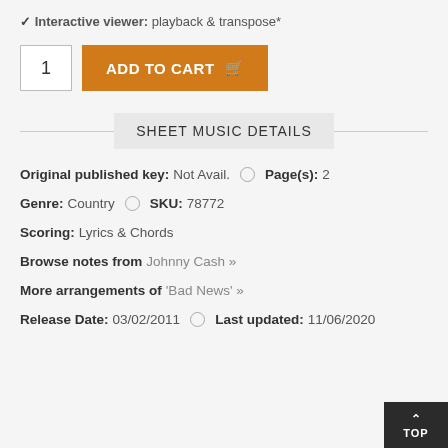Interactive viewer: playback & transpose*
1  ADD TO CART
SHEET MUSIC DETAILS
Original published key: Not Avail.  Page(s): 2
Genre: Country  SKU: 78772
Scoring: Lyrics & Chords
Browse notes from Johnny Cash »
More arrangements of 'Bad News' »
Release Date: 03/02/2011  Last updated: 11/06/2020